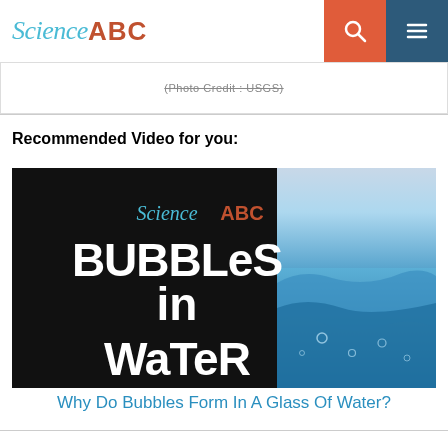Science ABC
(Photo Credit : USGS)
Recommended Video for you:
[Figure (screenshot): Science ABC video thumbnail showing 'Bubbles in Water' with black diagonal split and water photo on right side]
Why Do Bubbles Form In A Glass Of Water?